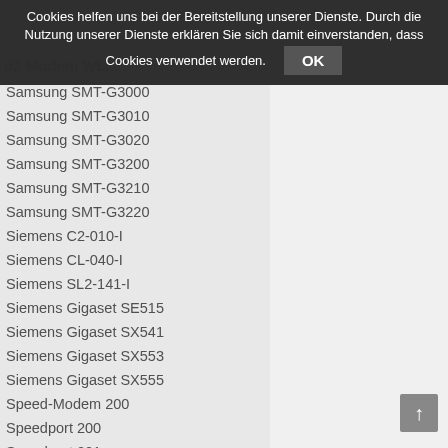Cookies helfen uns bei der Bereitstellung unserer Dienste. Durch die Nutzung unserer Dienste erklären Sie sich damit einverstanden, dass Cookies verwendet werden. OK
o2 Modem WL...
Samsung SMT-G3000
Samsung SMT-G3010
Samsung SMT-G3020
Samsung SMT-G3200
Samsung SMT-G3210
Samsung SMT-G3220
Siemens C2-010-I
Siemens CL-040-I
Siemens SL2-141-I
Siemens Gigaset SE515
Siemens Gigaset SX541
Siemens Gigaset SX553
Siemens Gigaset SX555
Speed-Modem 200
Speedport 200
Speedport 201
Speedport 221
Speedport 300
Speedport 300 HS
Speedport 400P
Speedport 500V
Speedport W 303V
Speedport W 303V Typ A
Speedport W 303V Typ B
Speedport W 500